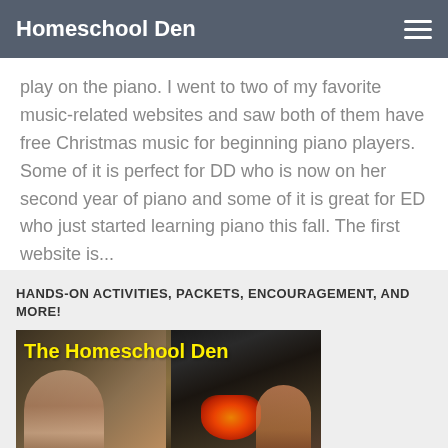Homeschool Den
play on the piano. I went to two of my favorite music-related websites and saw both of them have free Christmas music for beginning piano players. Some of it is perfect for DD who is now on her second year of piano and some of it is great for ED who just started learning piano this fall. The first website is...
HANDS-ON ACTIVITIES, PACKETS, ENCOURAGEMENT, AND MORE!
[Figure (photo): Collage photo showing children reading/studying on the left and a wood-burning stove with fire on the right, with yellow text overlay reading 'The Homeschool Den']